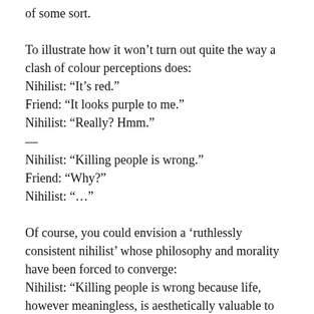of some sort.
To illustrate how it won't turn out quite the way a clash of colour perceptions does:
Nihilist: “It’s red.”
Friend: “It looks purple to me.”
Nihilist: “Really? Hmm.”
—
Nihilist: “Killing people is wrong.”
Friend: “Why?”
Nihilist: “…”
Of course, you could envision a ‘ruthlessly consistent nihilist’ whose philosophy and morality have been forced to converge:
Nihilist: “Killing people is wrong because life, however meaningless, is aesthetically valuable to its owners (etc.)”